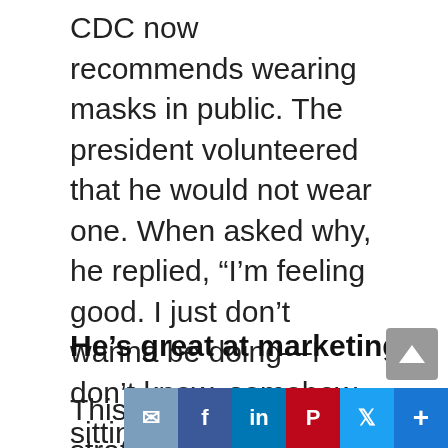CDC now recommends wearing masks in public. The president volunteered that he would not wear one. When asked why, he replied, “I’m feeling good. I just don’t wanna be doing—I don’t know, somehow sitting in the Oval Office behind that beautiful Resolute Desk, the great Resolute Desk I think wearing a face mask as I greet presidents, prime ministers, dictators, kings, queens, I don’t know. Somehow, I don’t see it for myself. I just, I just don’t. Maybe I’ll change my mind, but this will pass and hopefully it’ll pass very quickly.”
He’s great at marketing
This is similar to strategy. There’s an implication of a plan that just isn’t there. The president isn’t